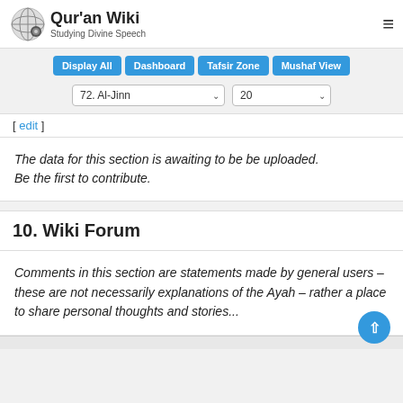Quran Wiki – Studying Divine Speech
Display All | Dashboard | Tafsir Zone | Mushaf View
72. Al-Jinn | 20
[ edit ]
The data for this section is awaiting to be be uploaded. Be the first to contribute.
10. Wiki Forum
Comments in this section are statements made by general users – these are not necessarily explanations of the Ayah – rather a place to share personal thoughts and stories...